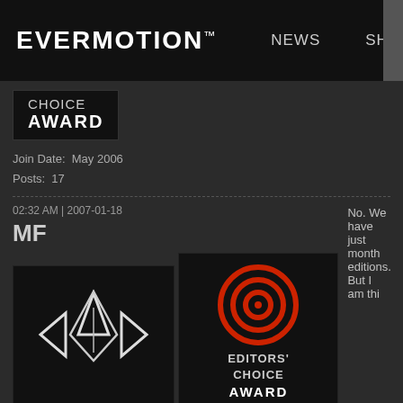EVERMOTION™  NEWS  SHOP
[Figure (logo): Evermotion logo with spiral icon and text EVERMOTION™, with navigation links NEWS and SHOP]
[Figure (illustration): CHOICE AWARD badge in black box]
Join Date:  May 2006
Posts:  17
02:32 AM | 2007-01-18
No. We have just month editions. But I am thi
MF
[Figure (logo): Stylized diamond/arrow logo badge in black box]
[Figure (logo): EDITORS' CHOICE AWARD badge with red target/bullseye icon]
Join Date:  Jan 2004